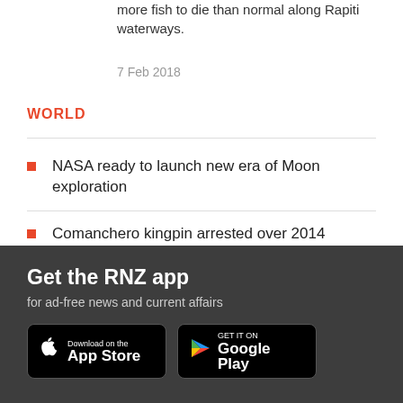more fish to die than normal along Rapiti waterways.
7 Feb 2018
WORLD
NASA ready to launch new era of Moon exploration
Comanchero kingpin arrested over 2014 homicide
Pakistan floods: Appeals for aid as 119 more die in a day
[Figure (infographic): Get the RNZ app banner with App Store and Google Play download buttons on dark grey background]